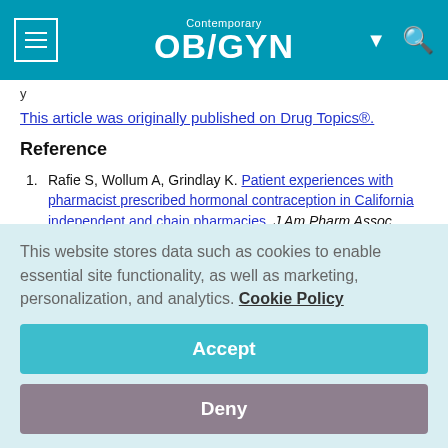Contemporary OB/GYN
y
This article was originally published on Drug Topics®.
Reference
1. Rafie S, Wollum A, Grindlay K. Patient experiences with pharmacist prescribed hormonal contraception in California independent and chain pharmacies. J Am Pharm Assoc. Published online November 2, 2021.
This website stores data such as cookies to enable essential site functionality, as well as marketing, personalization, and analytics. Cookie Policy
Accept
Deny